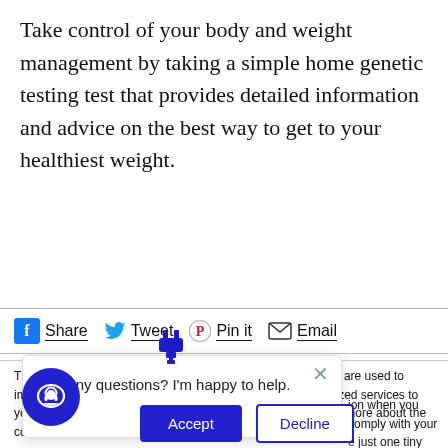Take control of your body and weight management by taking a simple home genetic testing test that provides detailed information and advice on the best way to get to your healthiest weight.
[Figure (screenshot): Social share bar with Facebook Share, Twitter Tweet, Pinterest Pin it, and Email buttons]
This website stores cookies on your computer. These cookies are used to improve your website experience and provide more personalized services to you, both on this website and through other media. To find out more about the cookies we use, see our Privacy P...
[Figure (screenshot): Chat widget popup with message 'Got any questions? I'm happy to help.' and an X close button, overlaid on cookie consent text. Right side shows partial text: 'ion when you comply with your e just one tiny ed to make this choice again.' Accept and Decline buttons, and a blue circular chat icon.]